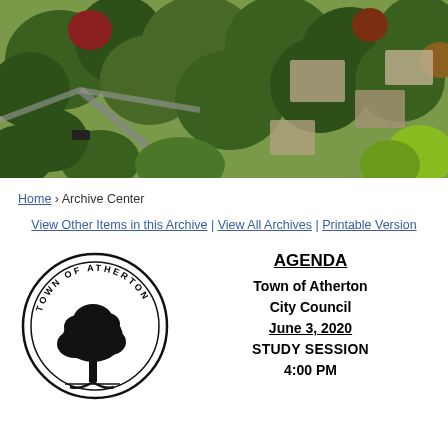[Figure (photo): Aerial photograph of the Town of Atherton showing tree-lined residential streets and houses with autumn foliage]
Home › Archive Center
View Other Items in this Archive | View All Archives | Printable Version
[Figure (logo): Town of Atherton official seal showing a tree inside a circular border with text 'TOWN OF ATHERTON']
AGENDA Town of Atherton City Council June 3, 2020 STUDY SESSION 4:00 PM